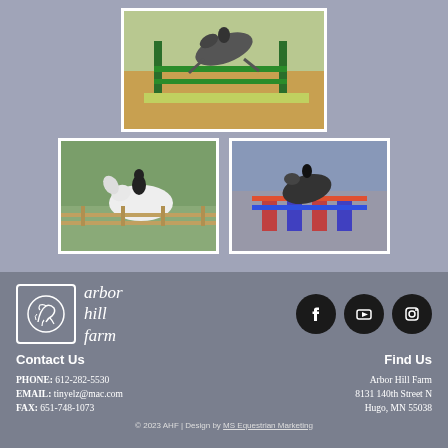[Figure (photo): Horse and rider jumping over green fence at equestrian competition, top center]
[Figure (photo): Horse and rider on white horse at outdoor equestrian event, bottom left]
[Figure (photo): Horse and rider jumping over colorful fence at indoor arena competition, bottom right]
[Figure (logo): Arbor Hill Farm logo with horse illustration in white square border]
arbor hill farm
[Figure (infographic): Social media icons: Facebook, YouTube, Instagram]
Contact Us
Find Us
PHONE: 612-282-5530
EMAIL: tinyelz@mac.com
FAX: 651-748-1073
Arbor Hill Farm
8131 140th Street N
Hugo, MN 55038
© 2023 AHF | Design by MS Equestrian Marketing